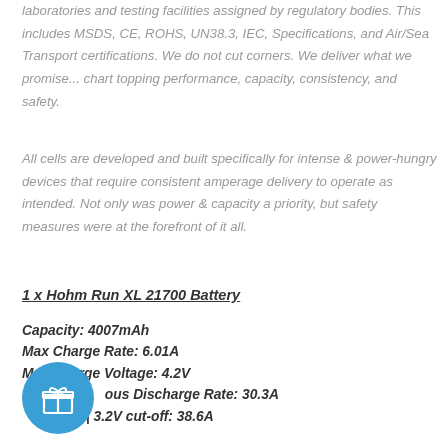laboratories and testing facilities assigned by regulatory bodies. This includes MSDS, CE, ROHS, UN38.3, IEC, Specifications, and Air/Sea Transport certifications. We do not cut corners. We deliver what we promise... chart topping performance, capacity, consistency, and safety.
All cells are developed and built specifically for intense & power-hungry devices that require consistent amperage delivery to operate as intended. Not only was power & capacity a priority, but safety measures were at the forefront of it all.
1 x Hohm Run XL 21700 Battery
Capacity: 4007mAh
Max Charge Rate: 6.01A
Max Charge Voltage: 4.2V
...ous Discharge Rate: 30.3A
...°C | 3.2V cut-off: 38.6A